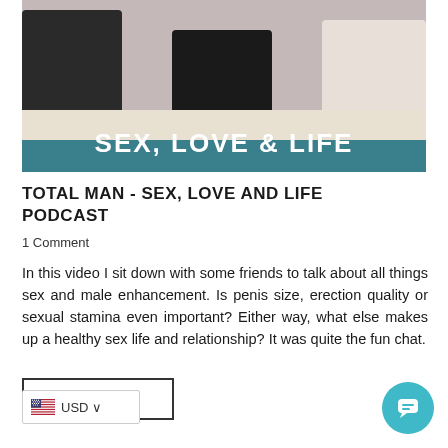[Figure (photo): Hero image showing people sitting at a table with text overlay reading SEX, LOVE & LIFE on a teal banner]
TOTAL MAN - SEX, LOVE AND LIFE PODCAST
1 Comment
In this video I sit down with some friends to talk about all things sex and male enhancement. Is penis size, erection quality or sexual stamina even important? Either way, what else makes up a healthy sex life and relationship? It was quite the fun chat.
READ MORE
USD